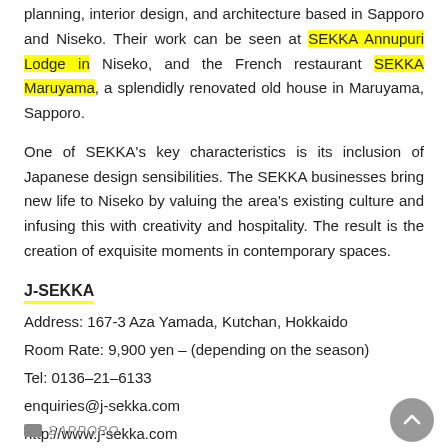planning, interior design, and architecture based in Sapporo and Niseko. Their work can be seen at SEKKA Annupuri Lodge in Niseko, and the French restaurant SEKKA Maruyama, a splendidly renovated old house in Maruyama, Sapporo.
One of SEKKA's key characteristics is its inclusion of Japanese design sensibilities. The SEKKA businesses bring new life to Niseko by valuing the area's existing culture and infusing this with creativity and hospitality. The result is the creation of exquisite moments in contemporary spaces.
J-SEKKA
Address: 167-3 Aza Yamada, Kutchan, Hokkaido
Room Rate: 9,900 yen – (depending on the season)
Tel: 0136–21–6133
enquiries@j-sekka.com
http://www.j-sekka.com
SAPPORO